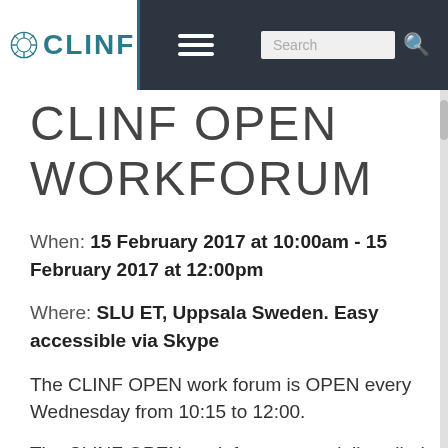CLINF
CLINF OPEN WORKFORUM
When: 15 February 2017 at 10:00am - 15 February 2017 at 12:00pm
Where: SLU ET, Uppsala Sweden. Easy accessible via Skype
The CLINF OPEN work forum is OPEN every Wednesday from 10:15 to 12:00.
The CLINF OPEN work forum especially called...